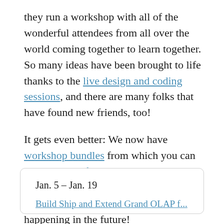they run a workshop with all of the wonderful attendees from all over the world coming together to learn together. So many ideas have been brought to life thanks to the live design and coding sessions, and there are many folks that have found new friends, too!
It gets even better: We now have workshop bundles from which you can choose three, five or even ten workshop tickets for the workshops of your choice – ongoing, upcoming or the ones happening in the future!
Jan. 5 – Jan. 19
Build Ship and Extend Grand OLAP f...